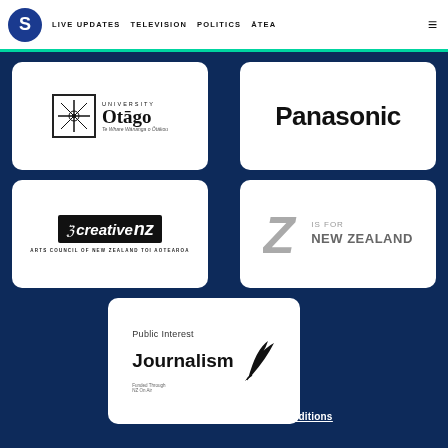S | LIVE UPDATES | TELEVISION | POLITICS | ĀTEA
[Figure (logo): University of Otago logo with crest, name and Māori subtitle Te Whare Wānanga o Ōtākou]
[Figure (logo): Panasonic logo in bold black text]
[Figure (logo): Creative NZ - Arts Council of New Zealand Toi Aotearoa logo]
[Figure (logo): Z Is For New Zealand logo with stylized Z letter]
[Figure (logo): Public Interest Journalism - Funded Through NZ On Air logo with quill]
Privacy Policy
The Spinoff Members Terms and Conditions